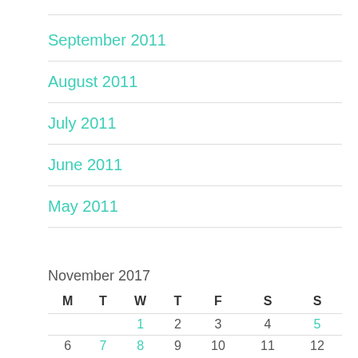September 2011
August 2011
July 2011
June 2011
May 2011
November 2017
| M | T | W | T | F | S | S |
| --- | --- | --- | --- | --- | --- | --- |
|  |  | 1 | 2 | 3 | 4 | 5 |
| 6 | 7 | 8 | 9 | 10 | 11 | 12 |